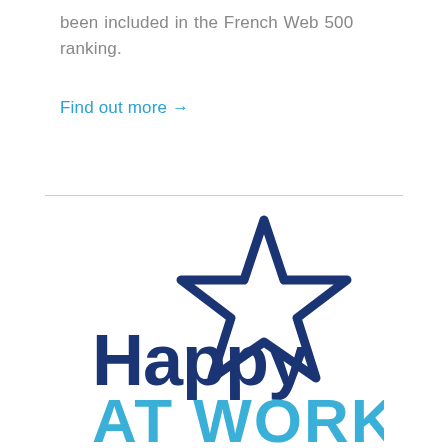For the third year in a row, Pitchy has been included in the French Web 500 ranking.
Find out more →
[Figure (logo): Happy At Work logo — a dark navy blue star outline above the word 'Happy' in dark navy blue, with 'AT WORK' in large light blue bold letters below]